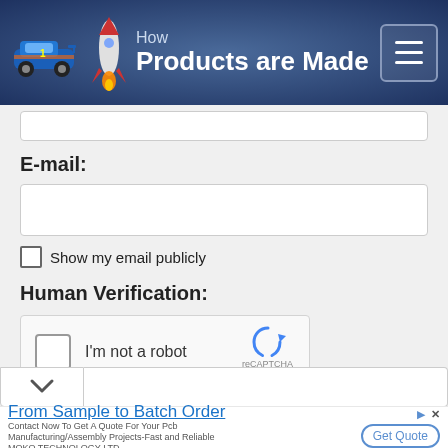[Figure (screenshot): Website header for 'How Products are Made' with logo showing a blue racing car and rocket, dark blue gradient background, and hamburger menu button on the right]
E-mail:
[Figure (screenshot): Empty email text input field]
Show my email publicly
Human Verification:
[Figure (screenshot): reCAPTCHA widget with 'I'm not a robot' checkbox and reCAPTCHA logo with Privacy - Terms links]
Public Comment: (50-4000 characters)
[Figure (screenshot): Partial comment text area with chevron down button on the left]
[Figure (screenshot): Advertisement banner: 'From Sample to Batch Order' - Contact Now To Get A Quote For Your Pcb Manufacturing/Assembly Projects-Fast and Reliable, MOKO TECHNOLOGY LTD, with Get Quote button]